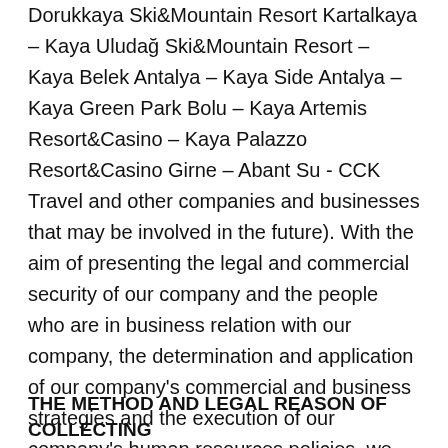Dorukkaya Ski&Mountain Resort Kartalkaya – Kaya Uludağ Ski&Mountain Resort – Kaya Belek Antalya – Kaya Side Antalya – Kaya Green Park Bolu – Kaya Artemis Resort&Casino – Kaya Palazzo Resort&Casino Girne – Abant Su - CCK Travel and other companies and businesses that may be involved in the future). With the aim of presenting the legal and commercial security of our company and the people who are in business relation with our company, the determination and application of our company's commercial and business strategies and the execution of our company's human resources policies, we propose that the services provided by you are customized according to your taste, usage habits and needs and for this reason the personal data will be processed within the terms and conditions specified in the articles 8 and 9 of the KVK Law.
THE METHOD AND LEGAL REASON OF COLLECTING